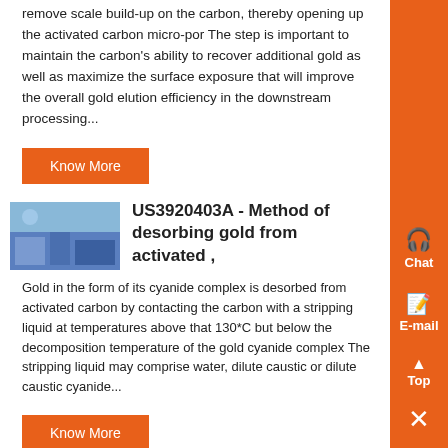remove scale build-up on the carbon, thereby opening up the activated carbon micro-por The step is important to maintain the carbon's ability to recover additional gold as well as maximize the surface exposure that will improve the overall gold elution efficiency in the downstream processing...
Know More
US3920403A - Method of desorbing gold from activated ,
Gold in the form of its cyanide complex is desorbed from activated carbon by contacting the carbon with a stripping liquid at temperatures above that 130*C but below the decomposition temperature of the gold cyanide complex The stripping liquid may comprise water, dilute caustic or dilute caustic cyanide...
Know More
ACTIVATED CARBON IN GOLD RECOVERY-22June'12
During elution, in which the gold is removed from the carbon This is diluted to 300 g/t . The recovery of gold is